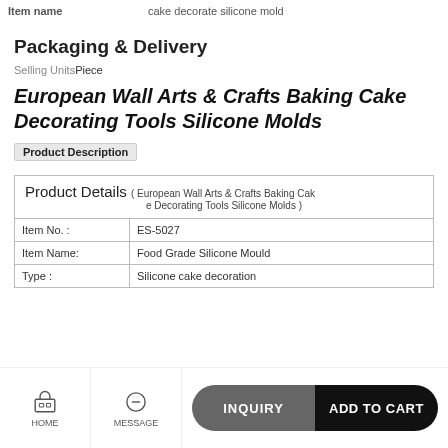Item name | cake decorate silicone mold
Packaging & Delivery
Selling Units Piece
European Wall Arts & Crafts Baking Cake Decorating Tools Silicone Molds
Product Description
| Product Details (European Wall Arts & Crafts Baking Cake Decorating Tools Silicone Molds) |  |
| --- | --- |
| Item No. : | ES-5027 |
| Item Name: | Food Grade Silicone Mould |
| Type : | Silicone cake decoration |
HOME | MESSAGE | INQUIRY | ADD TO CART